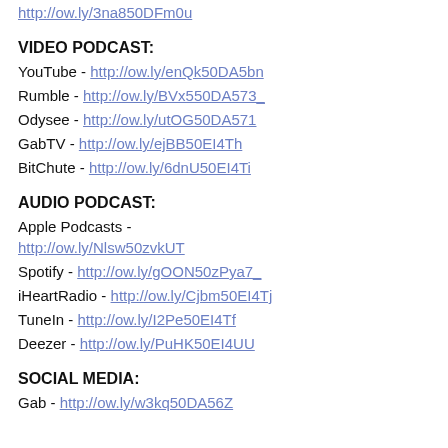http://ow.ly/3na850DFm0u
VIDEO PODCAST:
YouTube - http://ow.ly/enQk50DA5bn
Rumble - http://ow.ly/BVx550DA573_
Odysee - http://ow.ly/utOG50DA571
GabTV - http://ow.ly/ejBB50EI4Th
BitChute - http://ow.ly/6dnU50EI4Ti
AUDIO PODCAST:
Apple Podcasts - http://ow.ly/Nlsw50zvkUT
Spotify - http://ow.ly/gOON50zPya7_
iHeartRadio - http://ow.ly/Cjbm50EI4Tj
TuneIn - http://ow.ly/I2Pe50EI4Tf
Deezer - http://ow.ly/PuHK50EI4UU
SOCIAL MEDIA:
Gab - http://ow.ly/w3kq50DA56Z